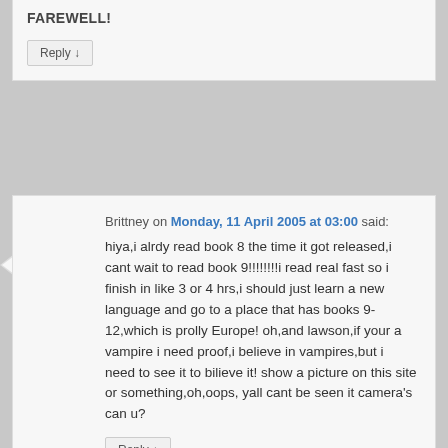FAREWELL!
Reply ↓
[Figure (illustration): Grey avatar placeholder image of a person silhouette]
Brittney on Monday, 11 April 2005 at 03:00 said:
hiya,i alrdy read book 8 the time it got released,i cant wait to read book 9!!!!!!!!i read real fast so i finish in like 3 or 4 hrs,i should just learn a new language and go to a place that has books 9-12,which is prolly Europe! oh,and lawson,if your a vampire i need proof,i believe in vampires,but i need to see it to bilieve it! show a picture on this site or something,oh,oops, yall cant be seen it camera's can u?
Reply ↓